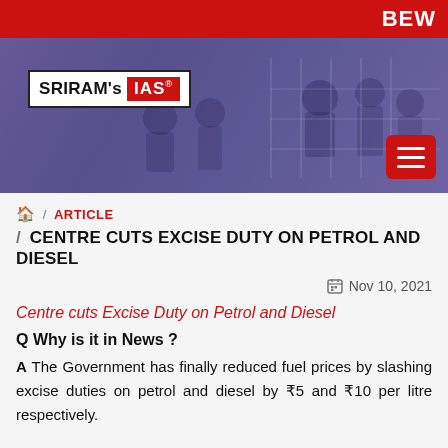BEW
[Figure (photo): Hero banner showing students sitting and discussing in a classroom/study area, with a purple-tinted overlay. Sriram's IAS logo displayed on the left. Red hamburger menu button on bottom right.]
🏠 / ARTICLE / CENTRE CUTS EXCISE DUTY ON PETROL AND DIESEL
Nov 10, 2021
Centre cuts Excise Duty on Petrol and Diesel
Q Why is it in News ?
A The Government has finally reduced fuel prices by slashing excise duties on petrol and diesel by ₹5 and ₹10 per litre respectively.